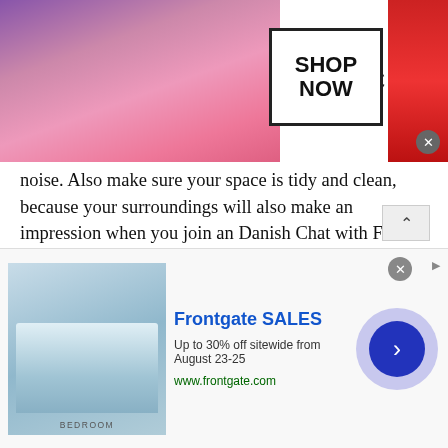[Figure (photo): MAC cosmetics advertisement banner showing lipsticks in purple, pink, and red colors with MAC logo and 'SHOP NOW' button box]
noise. Also make sure your space is tidy and clean, because your surroundings will also make an impression when you join an Danish Chat with Friends .
A Good Camera
Although laptops have built in cameras installed in the latest models, they are not as good as a webcam. Make sure you get your hands on a quality camera because clear communication requires the other person to see your facial expressions and your body language as clearly as
[Figure (photo): Frontgate SALES advertisement showing bedroom image, text 'Up to 30% off sitewide from August 23-25', URL www.frontgate.com, and a navigation arrow button]